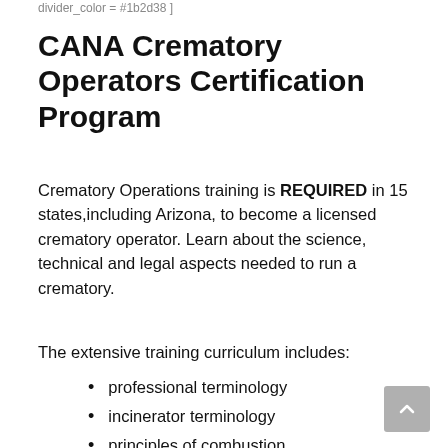divider_color = #1b2d38 ]
CANA Crematory Operators Certification Program
Crematory Operations training is REQUIRED in 15 states,including Arizona, to become a licensed crematory operator. Learn about the science, technical and legal aspects needed to run a crematory.
The extensive training curriculum includes:
professional terminology
incinerator terminology
principles of combustion
cremation and the environment
incinerator criteria and design